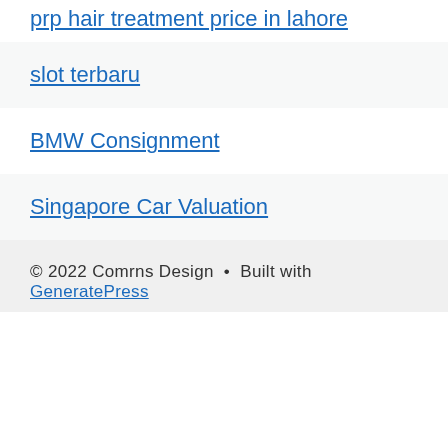prp hair treatment price in lahore
slot terbaru
BMW Consignment
Singapore Car Valuation
© 2022 Comrns Design • Built with GeneratePress